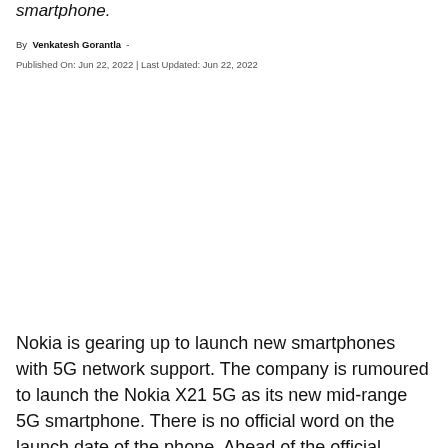smartphone.
By Venkatesh Gorantla -
Published On: Jun 22, 2022 | Last Updated: Jun 22, 2022
Nokia is gearing up to launch new smartphones with 5G network support. The company is rumoured to launch the Nokia X21 5G as its new mid-range 5G smartphone. There is no official word on the launch date of the phone. Ahead of the official confirmation